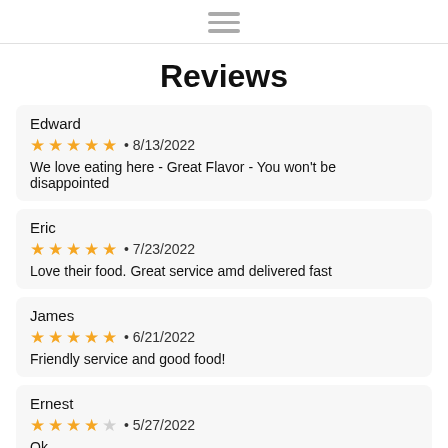Menu icon (hamburger)
Reviews
Edward
★★★★★ • 8/13/2022
We love eating here - Great Flavor - You won't be disappointed
Eric
★★★★★ • 7/23/2022
Love their food. Great service amd delivered fast
James
★★★★★ • 6/21/2022
Friendly service and good food!
Ernest
★★★★☆ • 5/27/2022
Ok
Ernest
★★★☆☆ • 5/27/2022
(partially visible)